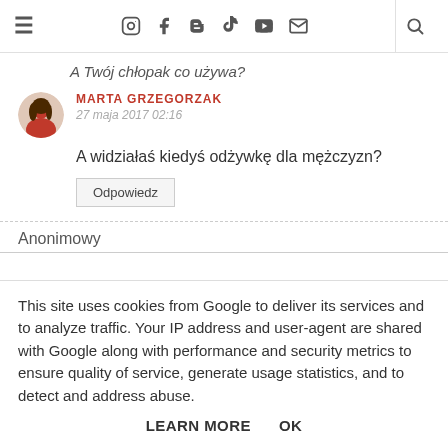≡ [social icons] [search]
A Twój chłopak co używa?
MARTA GRZEGORZAK
27 maja 2017 02:16
A widziałaś kiedyś odżywkę dla mężczyzn?
Odpowiedz
Anonimowy
This site uses cookies from Google to deliver its services and to analyze traffic. Your IP address and user-agent are shared with Google along with performance and security metrics to ensure quality of service, generate usage statistics, and to detect and address abuse.
LEARN MORE    OK